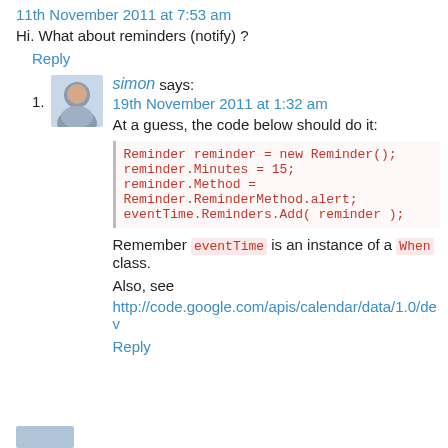11th November 2011 at 7:53 am
Hi. What about reminders (notify) ?
Reply
1. simon says:
19th November 2011 at 1:32 am
At a guess, the code below should do it:
Reminder reminder = new Reminder();
reminder.Minutes = 15;
reminder.Method = Reminder.ReminderMethod.alert;
eventTime.Reminders.Add( reminder );
Remember eventTime is an instance of a When class.
Also, see
http://code.google.com/apis/calendar/data/1.0/dev
Reply